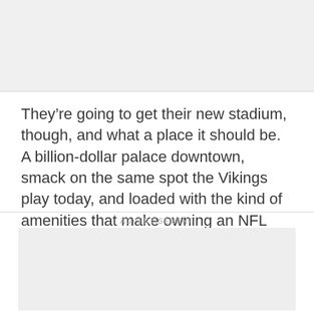[Figure (other): Gray placeholder image block at the top of the page]
They’re going to get their new stadium, though, and what a place it should be. A billion-dollar palace downtown, smack on the same spot the Vikings play today, and loaded with the kind of amenities that make owning an NFL team so much fun.
ADVERTISEMENT
[Figure (other): Gray advertisement placeholder block]